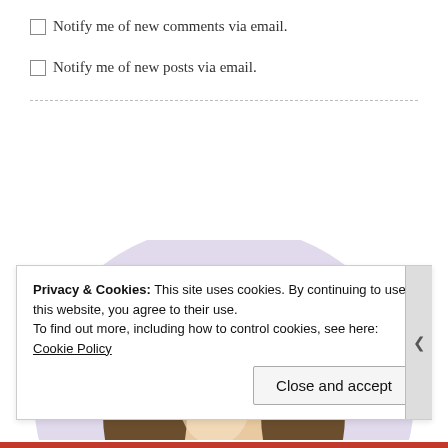Notify me of new comments via email.
Notify me of new posts via email.
[Figure (photo): Partial view of a person's head wearing a decorative crown/tiara, with a lavender circular background shape behind them, cropped at bottom of page.]
Privacy & Cookies: This site uses cookies. By continuing to use this website, you agree to their use.
To find out more, including how to control cookies, see here: Cookie Policy
Close and accept